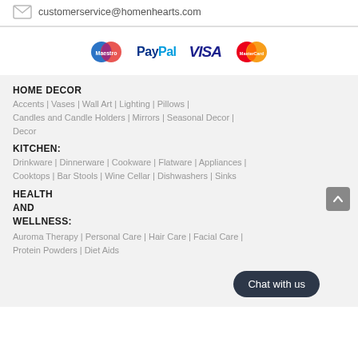customerservice@homenhearts.com
[Figure (other): Payment method logos: Maestro, PayPal, VISA, MasterCard]
HOME DECOR
Accents | Vases | Wall Art | Lighting | Pillows | Candles and Candle Holders | Mirrors | Seasonal Decor | Decor
KITCHEN:
Drinkware | Dinnerware | Cookware | Flatware | Appliances | Cooktops | Bar Stools | Wine Cellar | Dishwashers | Sinks
HEALTH AND WELLNESS:
Auroma Therapy | Personal Care | Hair Care | Facial Care | Protein Powders | Diet Aids